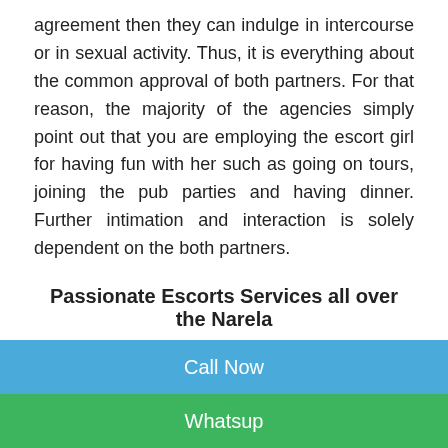agreement then they can indulge in intercourse or in sexual activity. Thus, it is everything about the common approval of both partners. For that reason, the majority of the agencies simply point out that you are employing the escort girl for having fun with her such as going on tours, joining the pub parties and having dinner. Further intimation and interaction is solely dependent on the both partners.
Passionate Escorts Services all over the Narela
The difference between the escorts solutions as well as prostitution is very important to keep in mind while availing the services. We have our services in different
Call Now
Whatsup